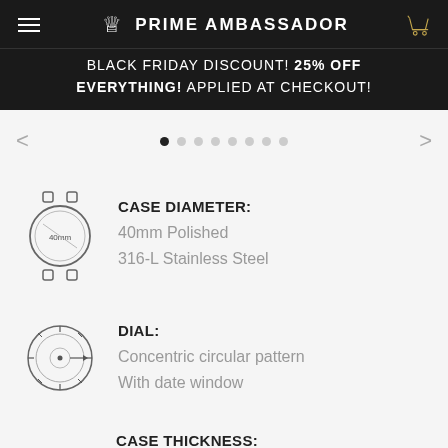PRIME AMBASSADOR
BLACK FRIDAY DISCOUNT! 25% OFF EVERYTHING! APPLIED AT CHECKOUT!
[Figure (other): Carousel navigation with left arrow, 8 pagination dots (first active), and right arrow]
[Figure (illustration): Watch case diagram showing circular case with lugs, labeled 40mm]
CASE DIAMETER:
40mm Polished
316-L Stainless Steel
[Figure (illustration): Watch dial diagram showing concentric circular pattern with tick marks and center dot, with date window arrow indicator]
DIAL:
Concentric circular pattern
With date window
CASE THICKNESS: